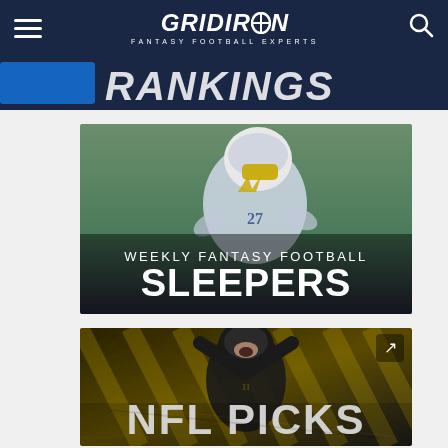GRIDIRON FANTASY FOOTBALL EXPERTS
[Figure (illustration): Partially visible banner with blue background and large text in background]
[Figure (photo): Los Angeles Chargers player #27 in white uniform running, with overlay text: WEEKLY FANTASY FOOTBALL SLEEPERS]
[Figure (photo): Pittsburgh Steelers player in dark uniform celebrating, with overlay text: NFL PICKS and external link icon in top right]